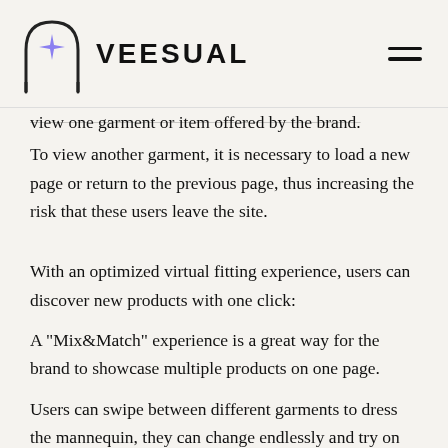VEESUAL
view one garment or item offered by the brand.
To view another garment, it is necessary to load a new page or return to the previous page, thus increasing the risk that these users leave the site.
With an optimized virtual fitting experience, users can discover new products with one click:
A "Mix&Match" experience is a great way for the brand to showcase multiple products on one page.
Users can swipe between different garments to dress the mannequin, they can change endlessly and try on any combination of tops and bottoms to compose the outfit of their choice.